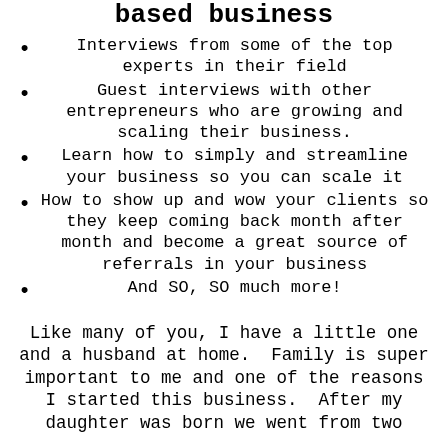based business
Interviews from some of the top experts in their field
Guest interviews with other entrepreneurs who are growing and scaling their business.
Learn how to simply and streamline your business so you can scale it
How to show up and wow your clients so they keep coming back month after month and become a great source of referrals in your business
And SO, SO much more!
Like many of you, I have a little one and a husband at home.  Family is super important to me and one of the reasons I started this business.  After my daughter was born we went from two